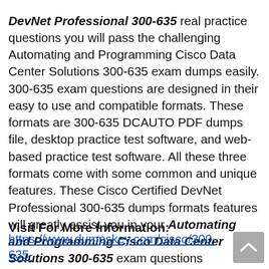DevNet Professional 300-635 real practice questions you will pass the challenging Automating and Programming Cisco Data Center Solutions 300-635 exam dumps easily. 300-635 exam questions are designed in their easy to use and compatible formats. These formats are 300-635 DCAUTO PDF dumps file, desktop practice test software, and web-based practice test software. All these three formats come with some common and unique features. These Cisco Certified DevNet Professional 300-635 dumps formats features will greatly assist you in your Automating and Programming Cisco Data Center Solutions 300-635 exam questions preparation and you can easily pass the 300-635 exam on the first attempt.
Visit For More Information:
https://www.dumpskey.com/cisco/300-635-dumps